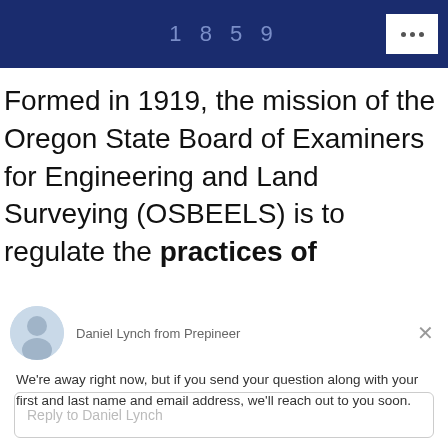1859
Formed in 1919, the mission of the Oregon State Board of Examiners for Engineering and Land Surveying (OSBEELS) is to regulate the practices of
[Figure (screenshot): Chat widget popup from Prepineer showing Daniel Lynch avatar, away message, and reply input box]
Daniel Lynch from Prepineer
We're away right now, but if you send your question along with your first and last name and email address, we'll reach out to you soon.
Reply to Daniel Lynch